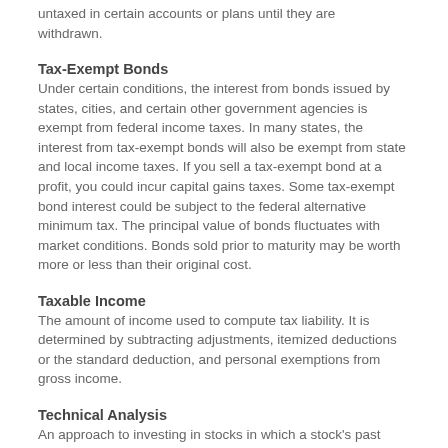untaxed in certain accounts or plans until they are withdrawn.
Tax-Exempt Bonds
Under certain conditions, the interest from bonds issued by states, cities, and certain other government agencies is exempt from federal income taxes. In many states, the interest from tax-exempt bonds will also be exempt from state and local income taxes. If you sell a tax-exempt bond at a profit, you could incur capital gains taxes. Some tax-exempt bond interest could be subject to the federal alternative minimum tax. The principal value of bonds fluctuates with market conditions. Bonds sold prior to maturity may be worth more or less than their original cost.
Taxable Income
The amount of income used to compute tax liability. It is determined by subtracting adjustments, itemized deductions or the standard deduction, and personal exemptions from gross income.
Technical Analysis
An approach to investing in stocks in which a stock's past performance is mapped onto charts. These charts are examined to find familiar patterns to use as an indicator of the stock's future.